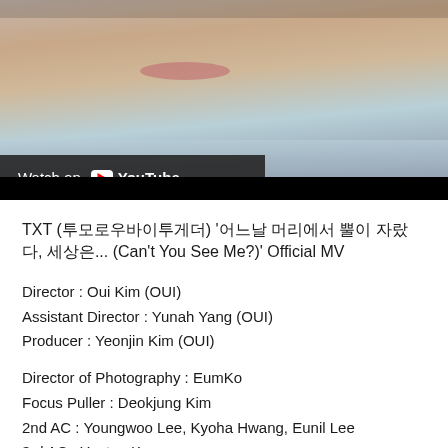[Figure (screenshot): YouTube video thumbnail showing a close-up of a person's face with a 'Watch on YouTube' overlay bar]
TXT (투모로우바이투게더) '어느날 머리에서 뿔이 자랐다, 세상은... (Can't You See Me?)' Official MV
Director : Oui Kim (OUI)
Assistant Director : Yunah Yang (OUI)
Producer : Yeonjin Kim (OUI)
Director of Photography : EumKo
Focus Puller : Deokjung Kim
2nd AC : Youngwoo Lee, Kyoha Hwang, Eunil Lee
3rd AC : Yuntae Ko